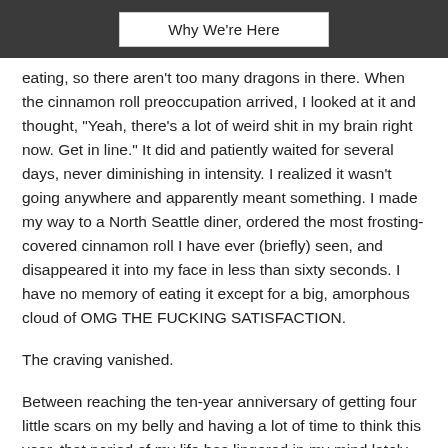Why We're Here
eating, so there aren't too many dragons in there. When the cinnamon roll preoccupation arrived, I looked at it and thought, “Yeah, there’s a lot of weird shit in my brain right now. Get in line.” It did and patiently waited for several days, never diminishing in intensity. I realized it wasn’t going anywhere and apparently meant something. I made my way to a North Seattle diner, ordered the most frosting-covered cinnamon roll I have ever (briefly) seen, and disappeared it into my face in less than sixty seconds. I have no memory of eating it except for a big, amorphous cloud of OMG THE FUCKING SATISFACTION.
The craving vanished.
Between reaching the ten-year anniversary of getting four little scars on my belly and having a lot of time to think this year, that period of my life has lingered in my mind lately. I’ll